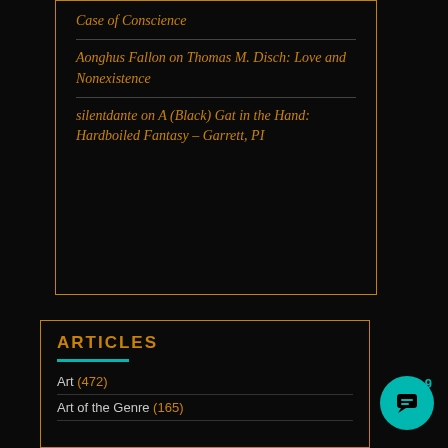Case of Conscience
Aonghus Fallon on Thomas M. Disch: Love and Nonexistence
silentdante on A (Black) Gat in the Hand: Hardboiled Fantasy – Garrett, PI
ARTICLES
Art (472)
Art of the Genre (165)